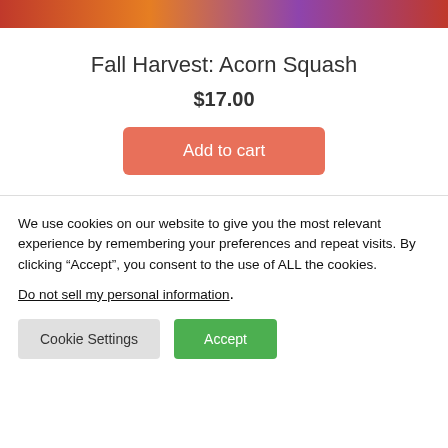[Figure (photo): Colorful abstract image strip at top of page, showing warm autumnal colors including red, orange, teal, and magenta.]
Fall Harvest: Acorn Squash
$17.00
Add to cart
We use cookies on our website to give you the most relevant experience by remembering your preferences and repeat visits. By clicking “Accept”, you consent to the use of ALL the cookies.
Do not sell my personal information.
Cookie Settings
Accept